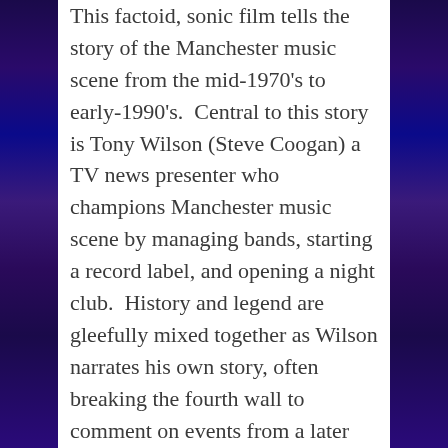This factoid, sonic film tells the story of the Manchester music scene from the mid-1970's to early-1990's. Central to this story is Tony Wilson (Steve Coogan) a TV news presenter who champions Manchester music scene by managing bands, starting a record label, and opening a night club. History and legend are gleefully mixed together as Wilson narrates his own story, often breaking the fourth wall to comment on events from a later perspective. Real people from Manchester bands appear in cameos sometimes commenting that the scenes in the movie aren't how they remember them. The effect can be overly cutesy at times but mostly is rollicking good fun and Coogan really carries the film. Of central importance though is the music as bands like Joy Division (later New